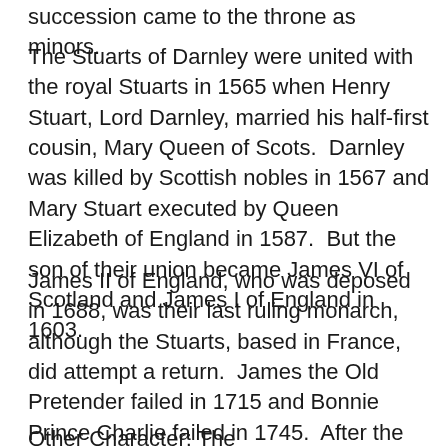succession came to the throne as minors.
The Stuarts of Darnley were united with the royal Stuarts in 1565 when Henry Stuart, Lord Darnley, married his half-first cousin, Mary Queen of Scots.  Darnley was killed by Scottish nobles in 1567 and Mary Stuart executed by Queen Elizabeth of England in 1587.  But the son of their union became James VI of Scotland and James I of England in 1603.
James II of England, who was deposed in 1688, was their last ruling monarch, although the Stuarts, based in France, did attempt a return.  James the Old Pretender failed in 1715 and Bonnie Prince Charlie failed in 1745.  After the defeat at Culloden in 1746, the Stuart hopes were finished.
Other Character: The...